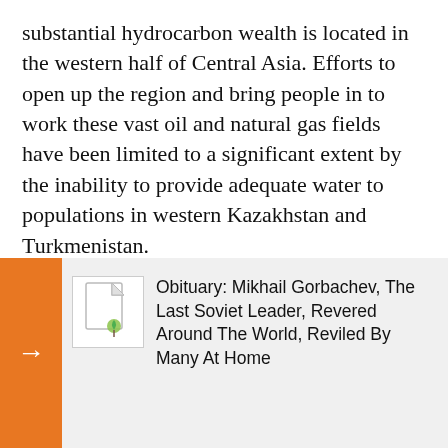substantial hydrocarbon wealth is located in the western half of Central Asia. Efforts to open up the region and bring people in to work these vast oil and natural gas fields have been limited to a significant extent by the inability to provide adequate water to populations in western Kazakhstan and Turkmenistan.

A solution to this equation is there -- the Caspian Sea -- and now officials in Kazakhstan's southwestern Mangistau Province are preparing to harness this re[source by building a water] purification pla[nt...]

The head of th[e...] industrial-inn[ovation...] Karasaev, ann[ounced...]
[Figure (other): A popup/tooltip overlay partially obscuring the main text. It contains an orange arrow button on the left, a placeholder image icon in the center, and text reading 'Obituary: Mikhail Gorbachev, The Last Soviet Leader, Revered Around The World, Reviled By Many At Home' on the right.]